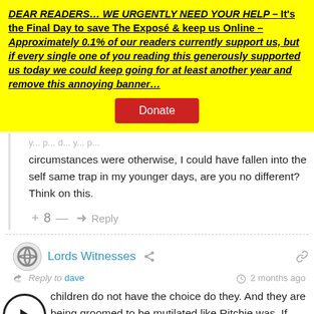DEAR READERS… WE URGENTLY NEED YOUR HELP – It's the Final Day to save The Exposé & keep us Online – Approximately 0.1% of our readers currently support us, but if every single one of you reading this generously supported us today we could keep going for at least another year and remove this annoying banner…
Donate
circumstances were otherwise, I could have fallen into the self same trap in my younger days, are you no different? Think on this.
+ 8 — Reply
Lords Witnesses
Reply to dave   2 months ago
children do not have the choice do they. And they are being groomed to be mutilated like Ritchie was. If Ritchie saves one of those kids from the damage he has suffered he will have learned more from his mistake than you have